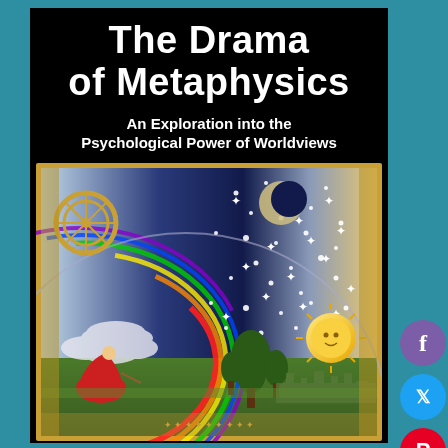The Drama of Metaphysics
An Exploration into the Psychological Power of Worldviews
[Figure (illustration): The Flammarion engraving — a colorful medieval woodcut-style illustration showing a figure in red robes at the edge of a flat earth, peering through the celestial sphere into the cosmos beyond, filled with stars, moon, sun, rainbow arcs, and a stylized landscape with trees and a distant town.]